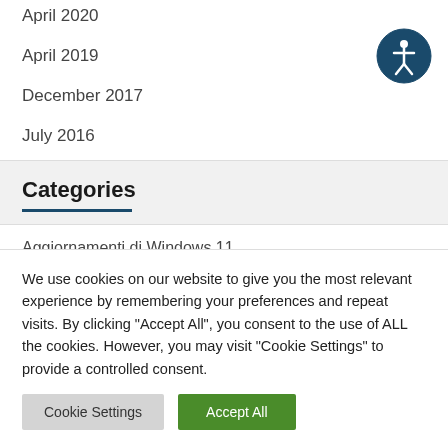April 2020
April 2019
December 2017
July 2016
[Figure (illustration): Accessibility icon: dark blue circle with white human figure and circular arrows]
Categories
Aggiornamenti di Windows 11
We use cookies on our website to give you the most relevant experience by remembering your preferences and repeat visits. By clicking "Accept All", you consent to the use of ALL the cookies. However, you may visit "Cookie Settings" to provide a controlled consent.
Cookie Settings | Accept All